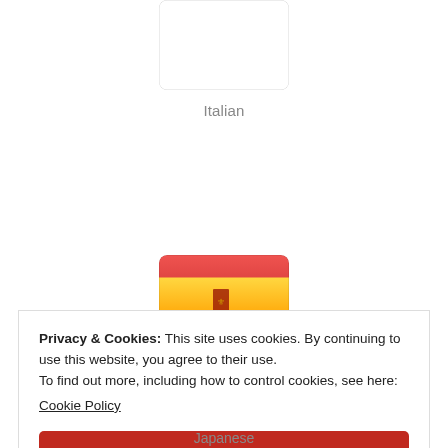[Figure (illustration): Italian flag emoji icon, rectangular with green, white, and red vertical stripes and rounded corners]
Italian
[Figure (illustration): Spanish flag emoji icon, rectangular with red top/bottom stripes and yellow center stripe with coat of arms, rounded corners]
Spanish
Privacy & Cookies: This site uses cookies. By continuing to use this website, you agree to their use.
To find out more, including how to control cookies, see here:
Cookie Policy
Close and accept
Japanese